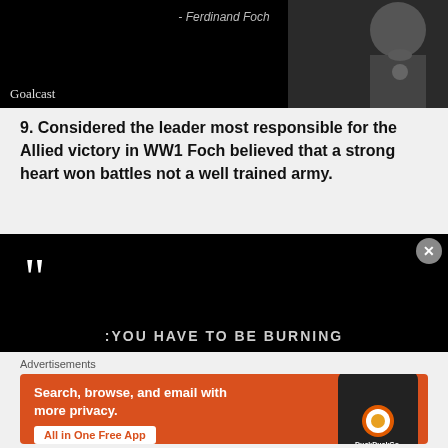[Figure (photo): Black background image with italic text '- Ferdinand Foch' at top and a black-and-white photo of a military officer on the right. 'Goalcast' watermark at bottom left.]
9. Considered the leader most responsible for the Allied victory in WW1 Foch believed that a strong heart won battles not a well trained army.
[Figure (photo): Black background image with large white opening quotation marks at top left, and partial text 'YOU HAVE TO BE BURNING' at the bottom in white capitals.]
Advertisements
[Figure (screenshot): DuckDuckGo advertisement on orange background. Text: 'Search, browse, and email with more privacy. All in One Free App' with DuckDuckGo logo and phone graphic.]